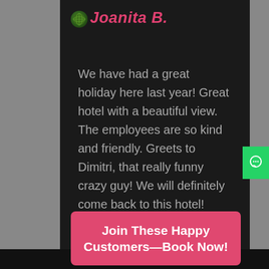Joanita B.
We have had a great holiday here last year! Great hotel with a beautiful view. The employees are so kind and friendly. Greets to Dimitri, that really funny crazy guy! We will definitely come back to this hotel!
Join These Happy Customers—Book Now!